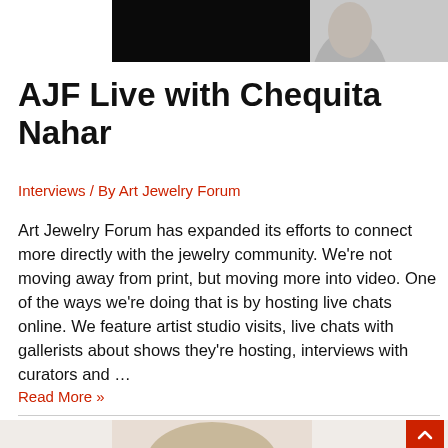[Figure (photo): Top portion of a photo showing a person, partially visible — dark/black area with a partial face image on the right]
AJF Live with Chequita Nahar
Interviews / By Art Jewelry Forum
Art Jewelry Forum has expanded its efforts to connect more directly with the jewelry community. We're not moving away from print, but moving more into video. One of the ways we're doing that is by hosting live chats online. We feature artist studio visits, live chats with gallerists about shows they're hosting, interviews with curators and …
Read More »
[Figure (photo): Bottom portion showing the top of a person's head with short gray/brown hair against a light background]